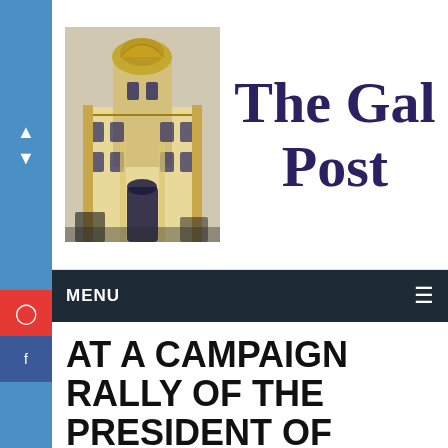The Gal Post
MENU
AT A CAMPAIGN RALLY OF THE PRESIDENT OF AFGHANISTAN, AN EXPLOSION OCCURRED, MORE THAN 20 PEOPLE WERE KILLED (PHOTO)